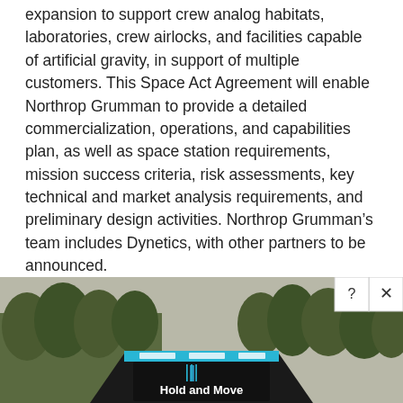expansion to support crew analog habitats, laboratories, crew airlocks, and facilities capable of artificial gravity, in support of multiple customers. This Space Act Agreement will enable Northrop Grumman to provide a detailed commercialization, operations, and capabilities plan, as well as space station requirements, mission success criteria, risk assessments, key technical and market analysis requirements, and preliminary design activities. Northrop Grumman's team includes Dynetics, with other partners to be announced.
For the second phase of NASA's approach to a transition toward commercial low-Earth orbit destinations, the agency
[Figure (photo): Advertisement overlay showing a dark road/highway sign with 'Hold and Move' text and a logo, with trees visible in the background. Close (X) and help (?) buttons in the top right corner.]